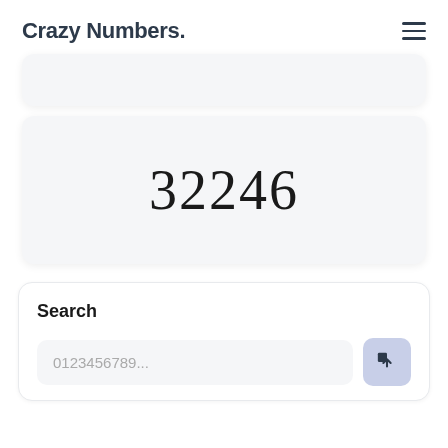Crazy Numbers.
32246
Search
0123456789...